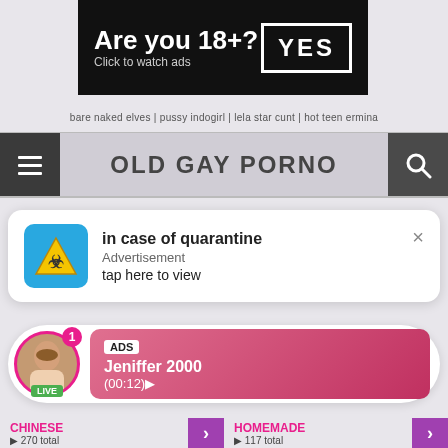[Figure (screenshot): Age verification ad banner: 'Are you 18+? Click to watch ads' with YES button on black background]
bare naked elves | pussy indogirl | lela star cunt | hot teen ermina
OLD GAY PORNO
[Figure (screenshot): Push notification popup: 'in case of quarantine' Advertisement, tap here to view, with biohazard/quarantine warning icon on blue background]
[Figure (screenshot): Live chat ad popup with female avatar, LIVE badge, ADS label, username 'Jeniffer 2000', time (00:12)]
CHINESE
270 total
HOMEMADE
117 total